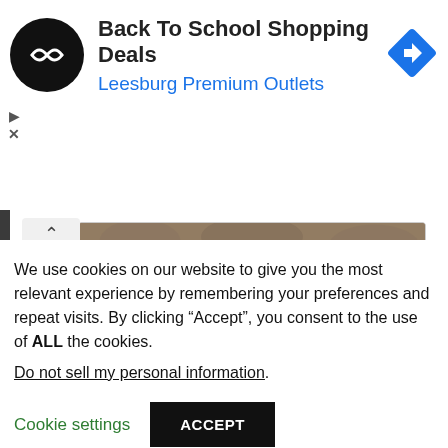[Figure (screenshot): Advertisement banner for Back To School Shopping Deals at Leesburg Premium Outlets. Features a circular black logo with double arrow symbol, bold title text, blue subtitle, and a blue diamond navigation icon on the right. Small play and X controls on the left side.]
[Figure (photo): Photo of two dirty hands cupped together, covered in mud/soil, against a rocky dirt background. Water or rain appears to be falling into the hands.]
We use cookies on our website to give you the most relevant experience by remembering your preferences and repeat visits. By clicking “Accept”, you consent to the use of ALL the cookies.
Do not sell my personal information.
Cookie settings
ACCEPT